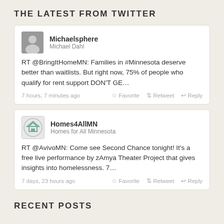THE LATEST FROM TWITTER
Michaelsphere
Michael Dahl
RT @BringItHomeMN: Families in #Minnesota deserve better than waitlists. But right now, 75% of people who qualify for rent support DON'T GE…
7 hours, 7 minutes ago  Favorite  Retweet  Reply
Homes4AllMN
Homes for All Minnesota
RT @AvivoMN: Come see Second Chance tonight! It's a free live performance by zAmya Theater Project that gives insights into homelessness. 7…
7 days, 23 hours ago  Favorite  Retweet  Reply
RECENT POSTS